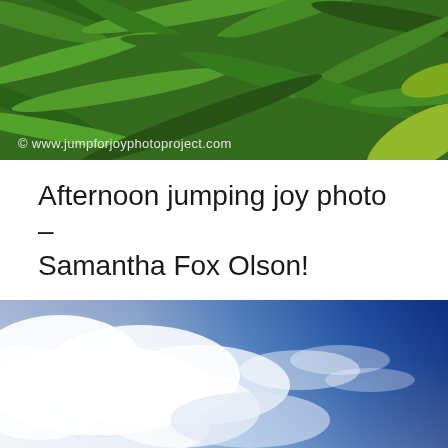[Figure (photo): Close-up photograph of green bamboo or grass leaves/foliage with a watermark reading © www.jumpforjoyphotoproject.com]
Afternoon jumping joy photo – Samantha Fox Olson!
Beautiful jumping joy in a field in Kauai, Hawaii. Have a fabulous day!
[Figure (photo): Photograph of a blue sky with white clouds, taken in Kauai, Hawaii]